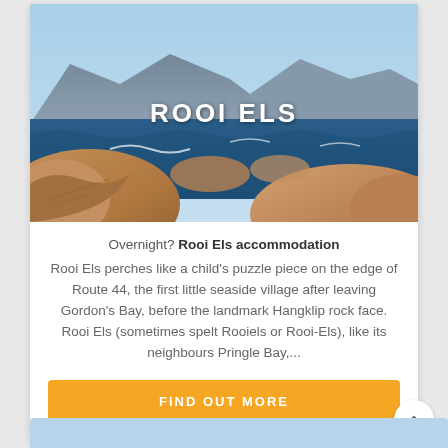[Figure (photo): Coastal landscape photo showing rocky shoreline with orange-brown rocks in foreground, deep blue ocean waves, and mountains in the background under a clear blue sky. Text overlay reads 'ROOI ELS' in white bold letters.]
ROOI ELS
Overnight? Rooi Els accommodation
Rooi Els perches like a child's puzzle piece on the edge of Route 44, the first little seaside village after leaving Gordon's Bay, before the landmark Hangklip rock face. Rooi Els (sometimes spelt Rooiels or Rooi-Els), like its neighbours Pringle Bay,...
FIND OUT MORE